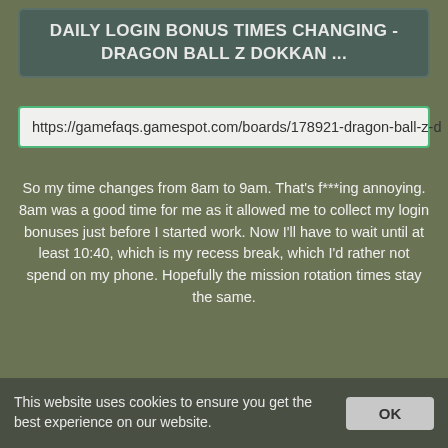DAILY LOGIN BONUS TIMES CHANGING - DRAGON BALL Z DOKKAN ...
https://gamefaqs.gamespot.com/boards/178921-dragon-ball-z-d
So my time changes from 8am to 9am. That's f***ing annoying. 8am was a good time for me as it allowed me to collect my login bonuses just before I started work. Now I'll have to wait until at least 10:40, which is my recess break, which I'd rather not spend on my phone. Hopefully the mission rotation times stay the same.
STATUS: ONLINE
PREVIEW   DOWNLOAD
This website uses cookies to ensure you get the best experience on our website.